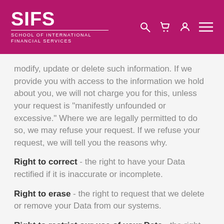SIFS SCHOOL OF INTERNATIONAL FINANCIAL SERVICES
modify, update or delete such information. If we provide you with access to the information we hold about you, we will not charge you for this, unless your request is "manifestly unfounded or excessive." Where we are legally permitted to do so, we may refuse your request. If we refuse your request, we will tell you the reasons why.
Right to correct - the right to have your Data rectified if it is inaccurate or incomplete.
Right to erase - the right to request that we delete or remove your Data from our systems.
Right to restrict our use of your Data - the right to "block" us from using your Data or limit the way in which